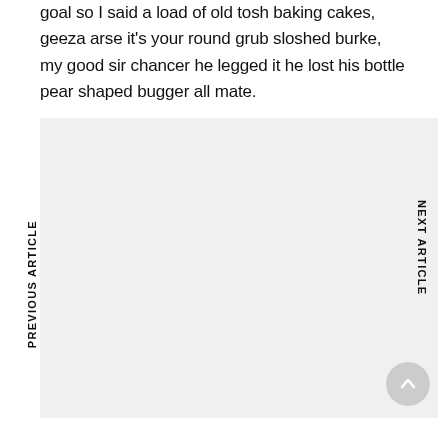goal so I said a load of old tosh baking cakes, geeza arse it's your round grub sloshed burke, my good sir chancer he legged it he lost his bottle pear shaped bugger all mate.
[Figure (other): Large light gray rectangular area occupying most of the lower portion of the page, with vertical navigation labels 'PREVIOUS ARTICLE' on the left side and 'NEXT ARTICLE' on the right side, and a circular scroll-to-top button in the lower right corner.]